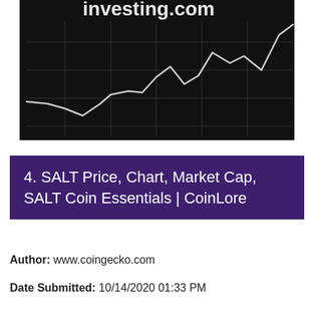[Figure (continuous-plot): A line chart on a dark/black background showing a cryptocurrency price trend. The line is light gray/white, starting relatively flat on the left, dipping slightly, then rising with some volatility toward the right side of the chart. A partial 'investing.com' watermark/logo is partially visible at the top. Vertical gridlines visible on the dark background.]
4. SALT Price, Chart, Market Cap, SALT Coin Essentials | CoinLore
Author: www.coingecko.com
Date Submitted: 10/14/2020 01:33 PM